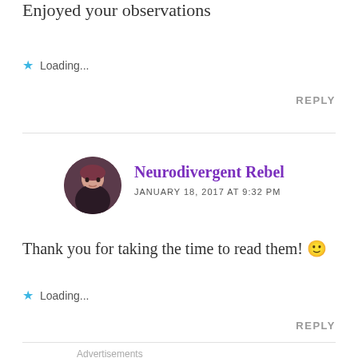Enjoyed your observations
Loading...
REPLY
Neurodivergent Rebel
JANUARY 18, 2017 AT 9:32 PM
Thank you for taking the time to read them! 🙂
Loading...
REPLY
Advertisements